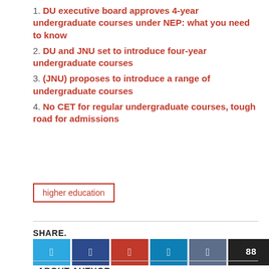1. DU executive board approves 4-year undergraduate courses under NEP: what you need to know
2. DU and JNU set to introduce four-year undergraduate courses
3. (JNU) proposes to introduce a range of undergraduate courses
4. No CET for regular undergraduate courses, tough road for admissions
higher education
SHARE.
ABOUT AUTHOR